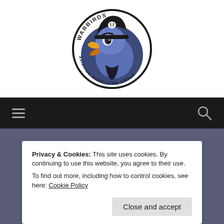[Figure (logo): Warbirds Aviation Modelling Group logo: cartoon bird mascot with pirate hat in circular badge with text around the border]
[Figure (other): Navigation bar with hamburger menu icon on left and search icon on right, dark background]
NEWS
Privacy & Cookies: This site uses cookies. By continuing to use this website, you agree to their use. To find out more, including how to control cookies, see here: Cookie Policy
Close and accept